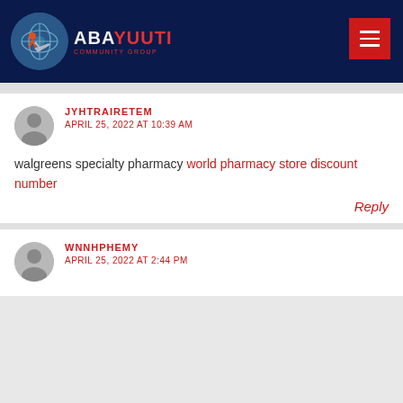ABAYUUTI COMMUNITY GROUP
JYHTRAIRETEM
APRIL 25, 2022 AT 10:39 AM
walgreens specialty pharmacy world pharmacy store discount number
Reply
WNNHPHEMY
APRIL 25, 2022 AT 2:44 PM